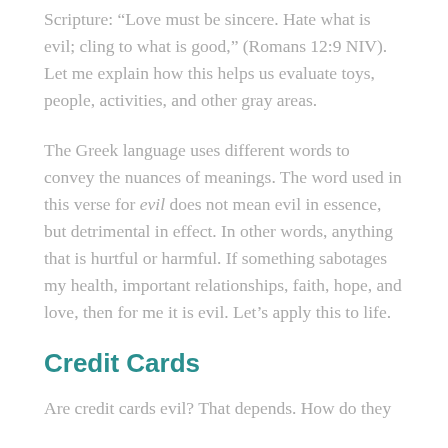Scripture: “Love must be sincere. Hate what is evil; cling to what is good,” (Romans 12:9 NIV). Let me explain how this helps us evaluate toys, people, activities, and other gray areas.
The Greek language uses different words to convey the nuances of meanings. The word used in this verse for evil does not mean evil in essence, but detrimental in effect. In other words, anything that is hurtful or harmful. If something sabotages my health, important relationships, faith, hope, and love, then for me it is evil. Let’s apply this to life.
Credit Cards
Are credit cards evil? That depends. How do they